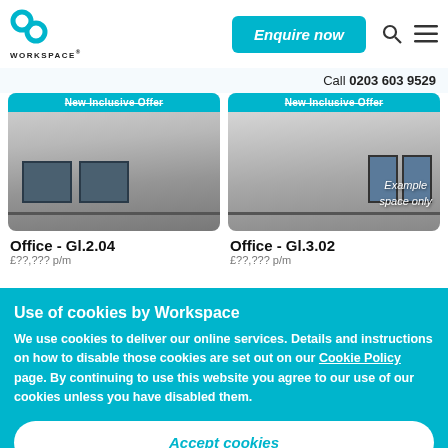Workspace — Enquire now | Search | Menu | Call 0203 603 9529
[Figure (photo): Office room photo for Office - Gl.2.04, showing an empty office space with windows, with 'New Inclusive Offer' banner at top]
[Figure (photo): Office room photo for Office - Gl.3.02, showing an empty office space with windows, labeled 'Example space only', with 'New Inclusive Offer' banner at top]
Office - Gl.2.04
Office - Gl.3.02
Use of cookies by Workspace
We use cookies to deliver our online services. Details and instructions on how to disable those cookies are set out on our Cookie Policy page. By continuing to use this website you agree to our use of our cookies unless you have disabled them.
Accept cookies